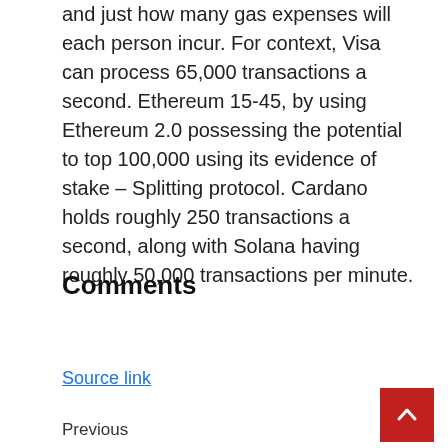and just how many gas expenses will each person incur. For context, Visa can process 65,000 transactions a second. Ethereum 15-45, by using Ethereum 2.0 possessing the potential to top 100,000 using its evidence of stake – Splitting protocol. Cardano holds roughly 250 transactions a second, along with Solana having roughly 50,000 transactions per minute.
Comments
Source link
Previous